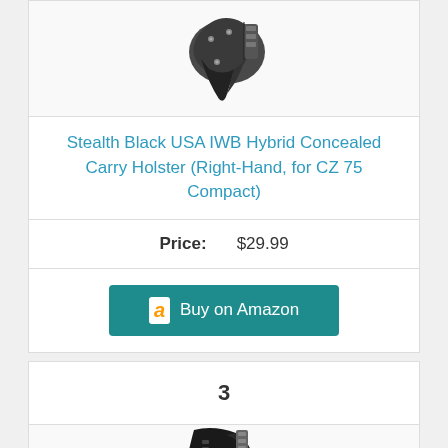[Figure (photo): Top portion of a Stealth Black USA IWB Hybrid Concealed Carry Holster product image]
Stealth Black USA IWB Hybrid Concealed Carry Holster (Right-Hand, for CZ 75 Compact)
Price: $29.99
Buy on Amazon
3
[Figure (photo): Bottom portion of next product holster image]